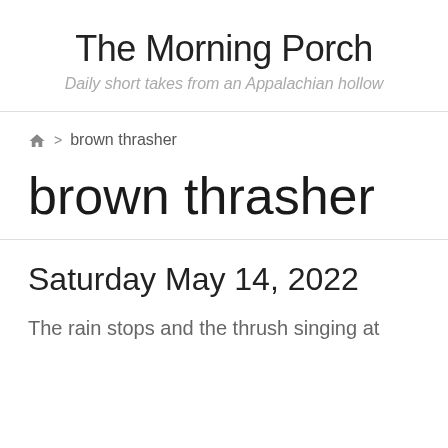The Morning Porch
Daily short takes from an Appalachian hollow
🏠 > brown thrasher
brown thrasher
Saturday May 14, 2022
The rain stops and the thrush singing at